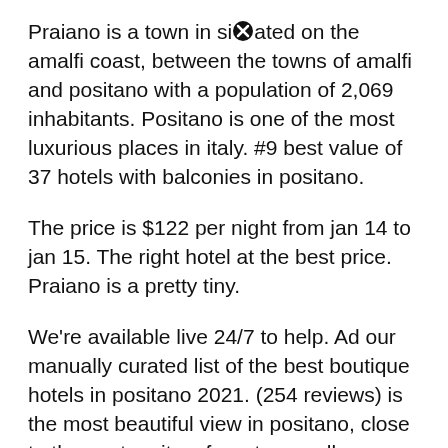Praiano is a town in situated on the amalfi coast, between the towns of amalfi and positano with a population of 2,069 inhabitants. Positano is one of the most luxurious places in italy. #9 best value of 37 hotels with balconies in positano.
The price is $122 per night from jan 14 to jan 15. The right hotel at the best price. Praiano is a pretty tiny.
We're available live 24/7 to help. Ad our manually curated list of the best boutique hotels in positano 2021. (254 reviews) is the most beautiful view in positano, close to the center city a few steps walk, amazing location y the staff is super friendly and helpful.!! reviewed on